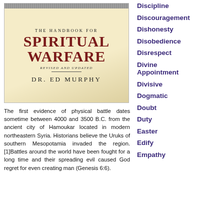[Figure (photo): Photo of book cover: The Handbook for Spiritual Warfare, Revised and Updated, by Dr. Ed Murphy]
The first evidence of physical battle dates sometime between 4000 and 3500 B.C. from the ancient city of Hamoukar located in modern northeastern Syria. Historians believe the Uruks of southern Mesopotamia invaded the region.[1]Battles around the world have been fought for a long time and their spreading evil caused God regret for even creating man (Genesis 6:6).
Discipline
Discouragement
Dishonesty
Disobedience
Disrespect
Divine Appointment
Divisive
Dogmatic
Doubt
Duty
Easter
Edify
Empathy